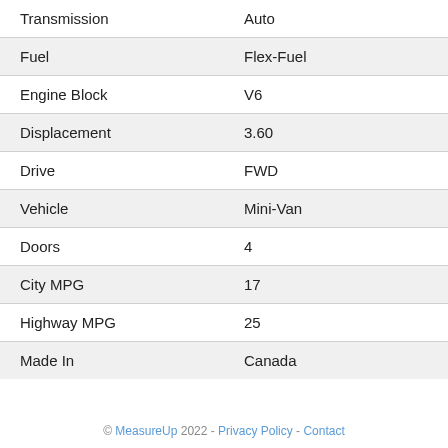| Transmission | Auto |
| Fuel | Flex-Fuel |
| Engine Block | V6 |
| Displacement | 3.60 |
| Drive | FWD |
| Vehicle | Mini-Van |
| Doors | 4 |
| City MPG | 17 |
| Highway MPG | 25 |
| Made In | Canada |
© MeasureUp 2022 - Privacy Policy - Contact